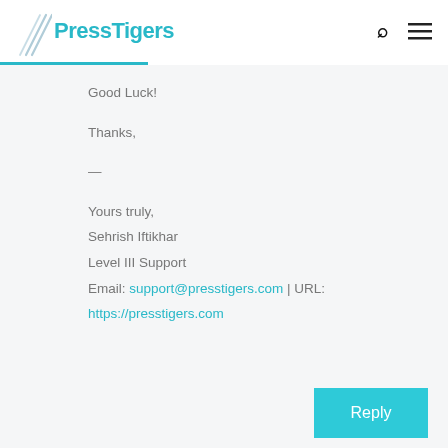PressTigers
Good Luck!

Thanks,

—

Yours truly,
Sehrish Iftikhar
Level III Support
Email: support@presstigers.com | URL:
https://presstigers.com